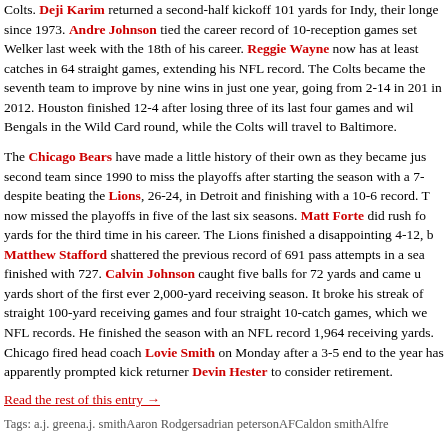Colts. Deji Karim returned a second-half kickoff 101 yards for Indy, their longest since 1973. Andre Johnson tied the career record of 10-reception games set by Welker last week with the 18th of his career. Reggie Wayne now has at least catches in 64 straight games, extending his NFL record. The Colts became the seventh team to improve by nine wins in just one year, going from 2-14 in 2011 in 2012. Houston finished 12-4 after losing three of its last four games and will Bengals in the Wild Card round, while the Colts will travel to Baltimore.
The Chicago Bears have made a little history of their own as they became just second team since 1990 to miss the playoffs after starting the season with a 7- despite beating the Lions, 26-24, in Detroit and finishing with a 10-6 record. T now missed the playoffs in five of the last six seasons. Matt Forte did rush for yards for the third time in his career. The Lions finished a disappointing 4-12, b Matthew Stafford shattered the previous record of 691 pass attempts in a sea finished with 727. Calvin Johnson caught five balls for 72 yards and came up yards short of the first ever 2,000-yard receiving season. It broke his streak of straight 100-yard receiving games and four straight 10-catch games, which we NFL records. He finished the season with an NFL record 1,964 receiving yards. Chicago fired head coach Lovie Smith on Monday after a 3-5 end to the year has apparently prompted kick returner Devin Hester to consider retirement.
Read the rest of this entry →
Tags: a.j. greena.j. smithAaron Rodgersadrian petersonAFCaldon smithAlfred...